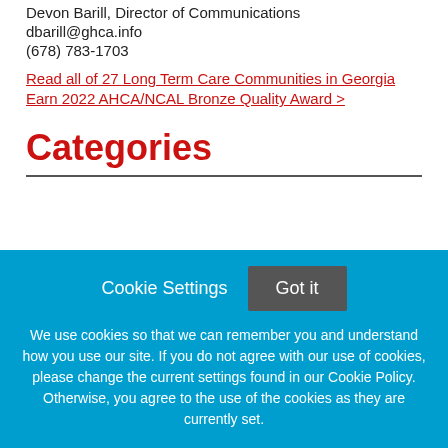Devon Barill, Director of Communications
dbarill@ghca.info
(678) 783-1703
Read all of 27 Long Term Care Communities in Georgia Earn 2022 AHCA/NCAL Bronze Quality Award >
Categories
Cookie Settings
Got it
We use cookies so that we can remember you and understand how you use our site. If you do not agree with our use of cookies, please change the current settings found in our Cookie Policy. Otherwise, you agree to the use of the cookies as they are currently set.